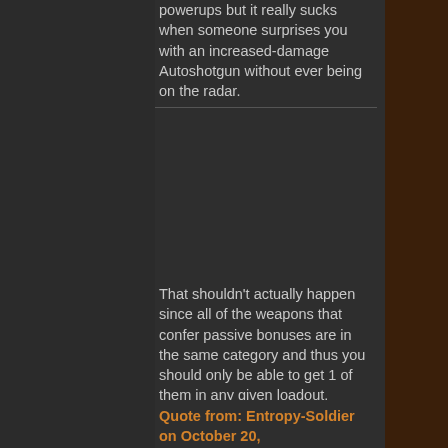powerups but it really sucks when someone surprises you with an increased-damage Autoshotgun without ever being on the radar.
That shouldn't actually happen since all of the weapons that confer passive bonuses are in the same category and thus you should only be able to get 1 of them in any given loadout. Getting multiples of these would be a bug.
Quote from: Entropy-Soldier on October 20,